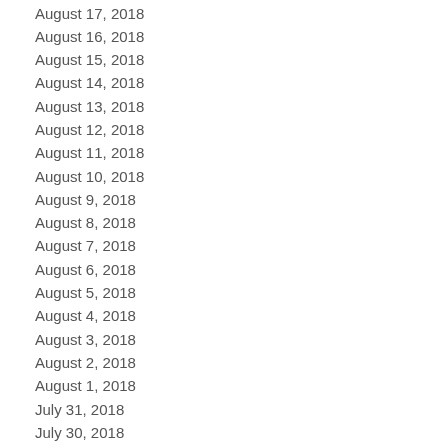August 17, 2018
August 16, 2018
August 15, 2018
August 14, 2018
August 13, 2018
August 12, 2018
August 11, 2018
August 10, 2018
August 9, 2018
August 8, 2018
August 7, 2018
August 6, 2018
August 5, 2018
August 4, 2018
August 3, 2018
August 2, 2018
August 1, 2018
July 31, 2018
July 30, 2018
July 29, 2018
July 28, 2018
July 27, 2018
July 26, 2018